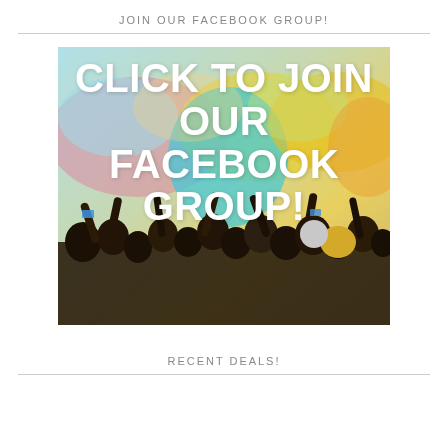JOIN OUR FACEBOOK GROUP!
[Figure (photo): Crowd of people at a festival throwing colorful powder (Holi festival), with large white bold text overlay reading 'CLICK TO JOIN OUR FACEBOOK GROUP!']
RECENT DEALS!